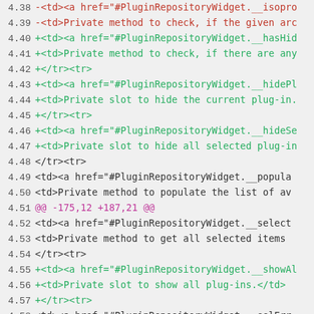Diff/code view showing lines 4.38–4.58 of a file with added, removed, and context lines for PluginRepositoryWidget methods.